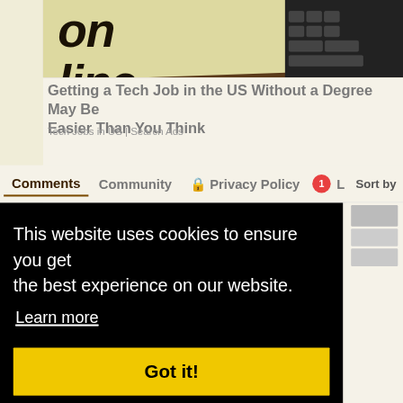[Figure (photo): Sticky note with handwritten 'on line' text against a dark brown leather/keyboard background, partially cropped at top]
Getting a Tech Job in the US Without a Degree May Be Easier Than You Think
Tech Jobs in US | Search Ads
Comments   Community   🔒 Privacy Policy   1   L...   Sort by
This website uses cookies to ensure you get the best experience on our website.
Learn more
Got it!